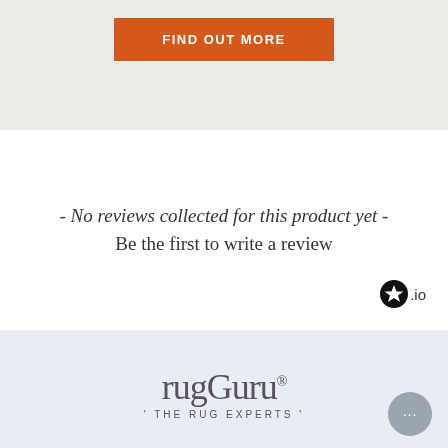[Figure (other): Orange 'FIND OUT MORE' button on a light beige/grey background]
- No reviews collected for this product yet -
Be the first to write a review
[Figure (logo): Trustpilot star logo with '.io' text]
[Figure (logo): rugGuru® THE RUG EXPERTS logo on light blue background]
YOU'LL BE BUYING